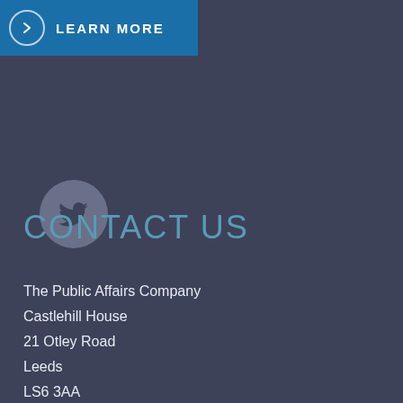[Figure (other): Blue button with circle arrow icon and LEARN MORE text]
[Figure (other): Grey circular Twitter bird icon]
CONTACT US
The Public Affairs Company
Castlehill House
21 Otley Road
Leeds
LS6 3AA
For further information, please contact us on:
Telephone: 0113 278 0211